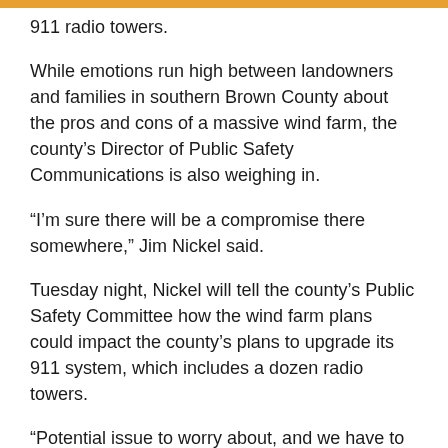911 radio towers.
While emotions run high between landowners and families in southern Brown County about the pros and cons of a massive wind farm, the county's Director of Public Safety Communications is also weighing in.
“I’m sure there will be a compromise there somewhere,” Jim Nickel said.
Tuesday night, Nickel will tell the county’s Public Safety Committee how the wind farm plans could impact the county’s plans to upgrade its 911 system, which includes a dozen radio towers.
“Potential issue to worry about, and we have to worry about, is connecting our sights together to allow that back to the 911 center.”